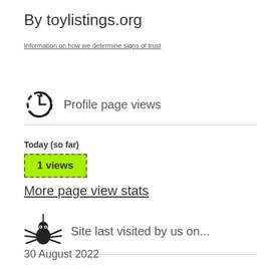By toylistings.org
Information on how we determine signs of trust
[Figure (illustration): Clock/history icon with circular arrow indicating profile page views history]
Profile page views
Today (so far)
1 views
More page view stats
[Figure (illustration): Spider icon representing web crawler bot]
Site last visited by us on...
30 August 2022